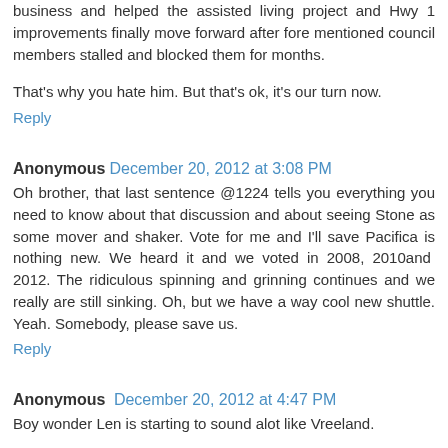business and helped the assisted living project and Hwy 1 improvements finally move forward after fore mentioned council members stalled and blocked them for months.
That's why you hate him. But that's ok, it's our turn now.
Reply
Anonymous  December 20, 2012 at 3:08 PM
Oh brother, that last sentence @1224 tells you everything you need to know about that discussion and about seeing Stone as some mover and shaker. Vote for me and I'll save Pacifica is nothing new. We heard it and we voted in 2008, 2010and 2012. The ridiculous spinning and grinning continues and we really are still sinking. Oh, but we have a way cool new shuttle. Yeah. Somebody, please save us.
Reply
Anonymous  December 20, 2012 at 4:47 PM
Boy wonder Len is starting to sound alot like Vreeland.